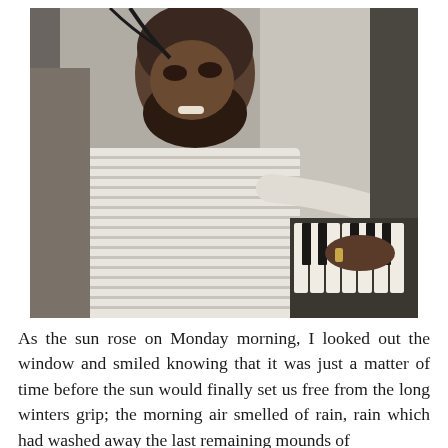[Figure (photo): Black and white photograph of a man with a beard wearing a striped shirt, sitting at and playing a piano or keyboard instrument, smiling and looking toward the camera.]
As the sun rose on Monday morning, I looked out the window and smiled knowing that it was just a matter of time before the sun would finally set us free from the long winters grip; the morning air smelled of rain, rain which had washed away the last remaining mounds of